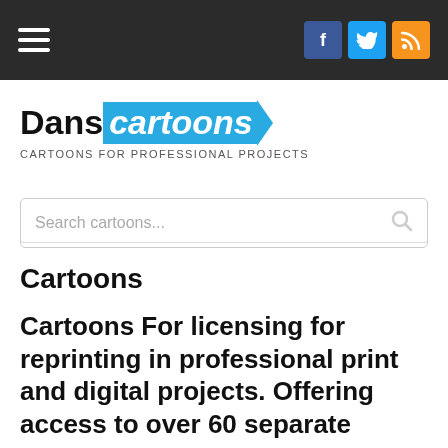Dans cartoons — navigation header with hamburger menu and social icons (Facebook, Twitter, RSS)
DansCartoons — CARTOONS FOR PROFESSIONAL PROJECTS
Search cartoons...
Cartoons
Cartoons For licensing for reprinting in professional print and digital projects. Offering access to over 60 separate